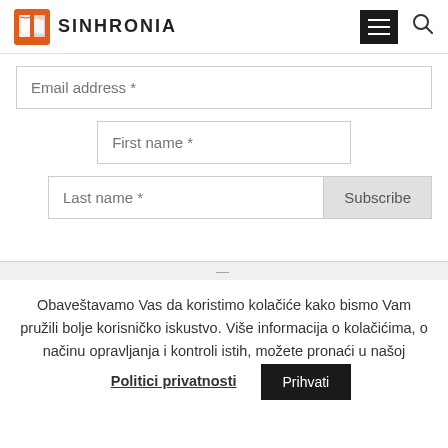SINHRONIA
[Figure (screenshot): Web form with Email address, First name, Last name fields and Subscribe button]
Obaveštavamo Vas da koristimo kolačiće kako bismo Vam pružili bolje korisničko iskustvo. Više informacija o kolačićima, o načinu opravljanja i kontroli istih, možete pronaći u našoj Politici privatnosti  Prihvati